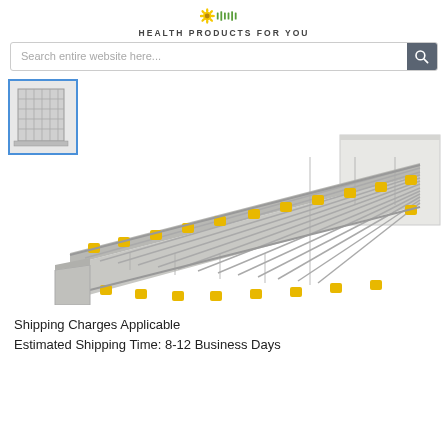HEALTH PRODUCTS FOR YOU
[Figure (screenshot): Search bar with magnifying glass icon]
[Figure (photo): A modular aluminum wheelchair access ramp with yellow connectors, shown at an angle, with a small thumbnail image of a lift platform in the upper left corner.]
Shipping Charges Applicable
Estimated Shipping Time: 8-12 Business Days